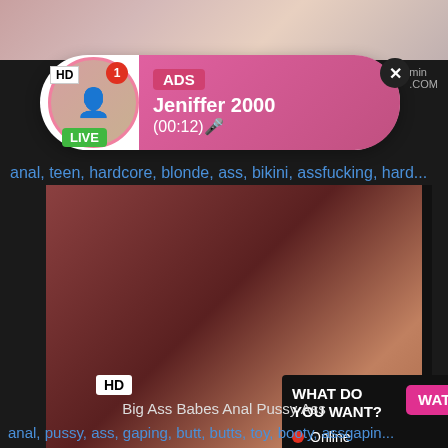[Figure (screenshot): Adult website screenshot showing video player with ad overlay popup for 'Jeniffer 2000', HD badge, LIVE indicator, tags row, video thumbnail, interactive ad overlay with WATCH button, HD and 5 min badges, video title and bottom tags]
ADS
Jeniffer 2000
(00:12)🎤
anal, teen, hardcore, blonde, ass, bikini, assfucking, hard...
WHAT DO YOU WANT?  WATCH
● Online
Cumming, ass fucking, squirt or...
• ADS
Big Ass Babes Anal Pussy Ass
anal, pussy, ass, gaping, butt, butts, toy, booty, assgapin...